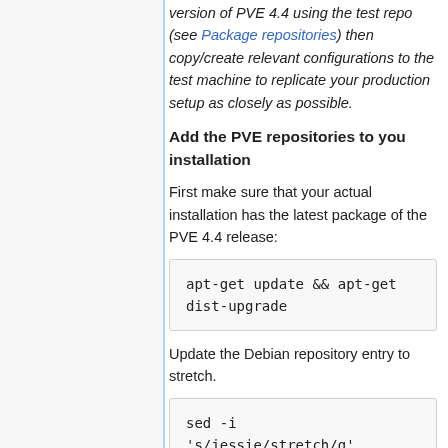version of PVE 4.4 using the test repo (see Package repositories) then copy/create relevant configurations to the test machine to replicate your production setup as closely as possible.
Add the PVE repositories to you installation
First make sure that your actual installation has the latest package of the PVE 4.4 release:
apt-get update && apt-get dist-upgrade
Update the Debian repository entry to stretch.
sed -i 's/jessie/stretch/g' /etc/apt/sources.list